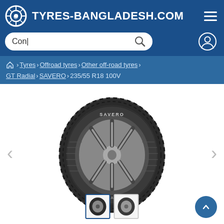TYRES-BANGLADESH.COM
Con|
Home > Tyres > Offroad tyres > Other off-road tyres > GT Radial > SAVERO > 235/55 R18 100V
[Figure (photo): GT Radial SAVERO 235/55 R18 100V tyre product image showing a mounted tire with spoke rim, viewed from an angle. Two thumbnail images shown at the bottom.]